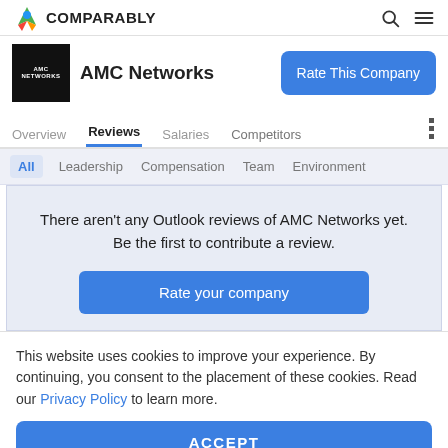COMPARABLY
AMC Networks
Overview  Reviews  Salaries  Competitors
All  Leadership  Compensation  Team  Environment
There aren't any Outlook reviews of AMC Networks yet. Be the first to contribute a review.
Rate your company
This website uses cookies to improve your experience. By continuing, you consent to the placement of these cookies. Read our Privacy Policy to learn more.
ACCEPT